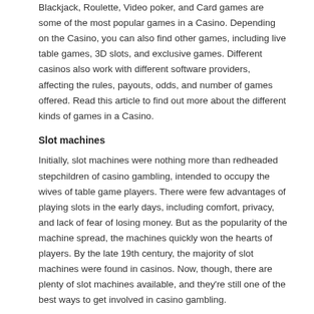Blackjack, Roulette, Video poker, and Card games are some of the most popular games in a Casino. Depending on the Casino, you can also find other games, including live table games, 3D slots, and exclusive games. Different casinos also work with different software providers, affecting the rules, payouts, odds, and number of games offered. Read this article to find out more about the different kinds of games in a Casino.
Slot machines
Initially, slot machines were nothing more than redheaded stepchildren of casino gambling, intended to occupy the wives of table game players. There were few advantages of playing slots in the early days, including comfort, privacy, and lack of fear of losing money. But as the popularity of the machine spread, the machines quickly won the hearts of players. By the late 19th century, the majority of slot machines were found in casinos. Now, though, there are plenty of slot machines available, and they're still one of the best ways to get involved in casino gambling.